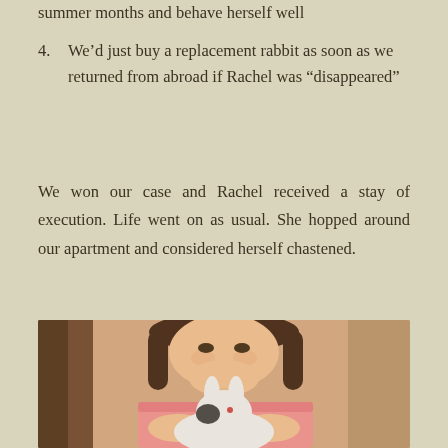summer months and behave herself well
4. We’d just buy a replacement rabbit as soon as we returned from abroad if Rachel was “disappeared”
We won our case and Rachel received a stay of execution. Life went on as usual. She hopped around our apartment and considered herself chastened.
[Figure (photo): A young girl in a pink shirt smiling and holding a white and black rabbit. The background shows a wooden interior.]